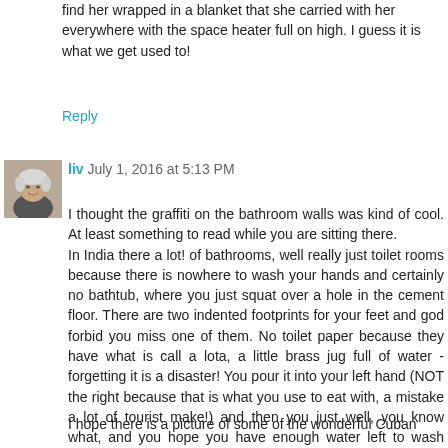find her wrapped in a blanket that she carried with her everywhere with the space heater full on high. I guess it is what we get used to!
Reply
[Figure (photo): Small square avatar photo of a woman with short grey/white hair]
liv July 1, 2016 at 5:13 PM
I thought the graffiti on the bathroom walls was kind of cool. At least something to read while you are sitting there.
In India there a lot! of bathrooms, well really just toilet rooms because there is nowhere to wash your hands and certainly no bathtub, where you just squat over a hole in the cement floor. There are two indented footprints for your feet and god forbid you miss one of them. No toilet paper because they have what is call a lota, a little brass jug full of water - forgetting it is a disaster! You pour it into your left hand (NOT the right because that is what you use to eat with, a mistake a lot of tourist make!) and then you just..well, you know what, and you hope you have enough water left to wash your hand....
I hope there is a picture of some of the wonderful Cuban